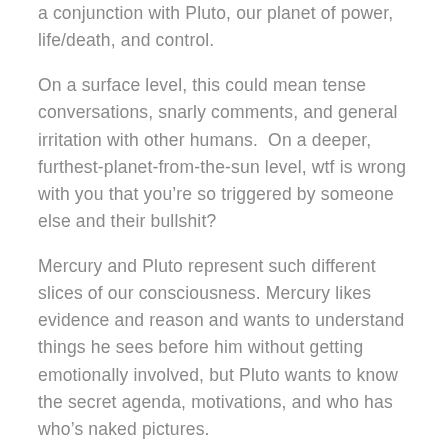a conjunction with Pluto, our planet of power, life/death, and control.
On a surface level, this could mean tense conversations, snarly comments, and general irritation with other humans.  On a deeper, furthest-planet-from-the-sun level, wtf is wrong with you that you're so triggered by someone else and their bullshit?
Mercury and Pluto represent such different slices of our consciousness. Mercury likes evidence and reason and wants to understand things he sees before him without getting emotionally involved, but Pluto wants to know the secret agenda, motivations, and who has who's naked pictures.